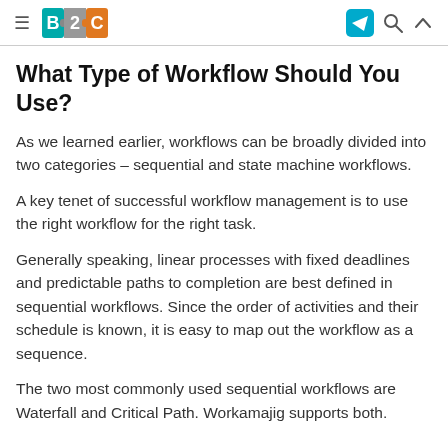B2C [logo] [hamburger menu] [send icon] [search icon] [up icon]
What Type of Workflow Should You Use?
As we learned earlier, workflows can be broadly divided into two categories – sequential and state machine workflows.
A key tenet of successful workflow management is to use the right workflow for the right task.
Generally speaking, linear processes with fixed deadlines and predictable paths to completion are best defined in sequential workflows. Since the order of activities and their schedule is known, it is easy to map out the workflow as a sequence.
The two most commonly used sequential workflows are Waterfall and Critical Path. Workamajig supports both.